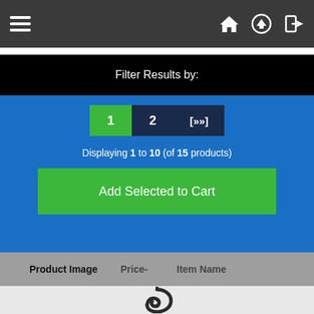Navigation bar with hamburger menu and home, upload, login icons
Filter Results by:
1  2  [»»]
Displaying 1 to 10 (of 15 products)
Add Selected to Cart
Product Image   Price-   Item Name
[Figure (photo): A black cast iron hook/latch hardware piece photographed on white/light background]